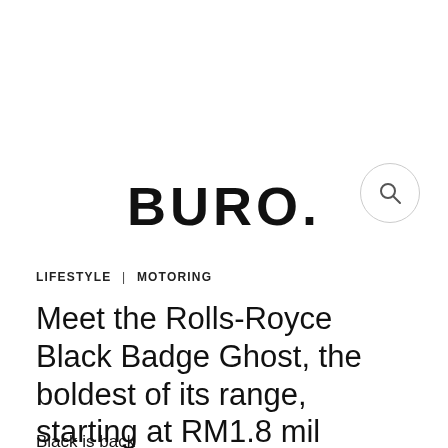BURO.
LIFESTYLE | MOTORING
Meet the Rolls-Royce Black Badge Ghost, the boldest of its range, starting at RM1.8 mil
Black is back